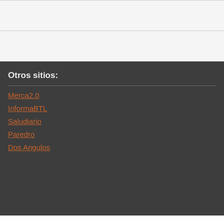Otros sitios:
Merca2.0
InformaBTL
Saludiario
Paredro
Dos Angulos